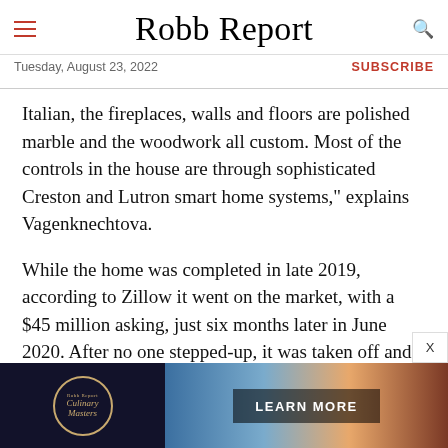Robb Report — Tuesday, August 23, 2022 — SUBSCRIBE
Italian, the fireplaces, walls and floors are polished marble and the woodwork all custom. Most of the controls in the house are through sophisticated Creston and Lutron smart home systems," explains Vagenknechtova.
While the home was completed in late 2019, according to Zillow it went on the market, with a $45 million asking, just six months later in June 2020. After no one stepped-up, it was taken off and was re-listed last month for the same $45 million
[Figure (other): Advertisement banner for Robb Report Culinary Masters with a Learn More button overlay on a scenic background image]